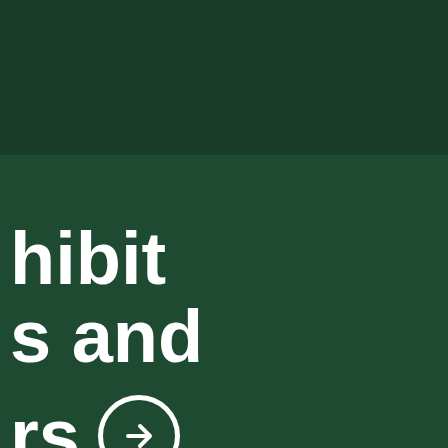[Figure (infographic): Dark green background with a slightly lighter green rectangular panel overlapping from the left side, containing large bold white text partially visible: 'hibit', 's and', and 'rs' with a circled arrow icon. This appears to be a cropped section of a larger decorative page or cover.]